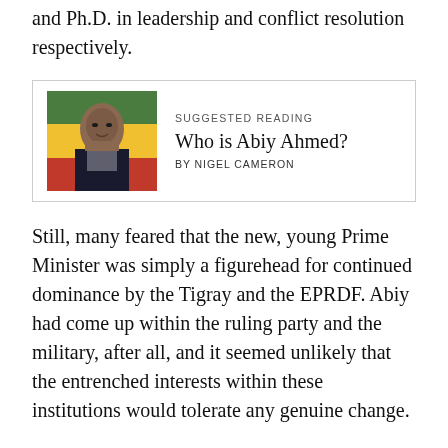and trained in the art of peacemaking, with a master and Ph.D. in leadership and conflict resolution respectively.
[Figure (infographic): Suggested Reading box with a photo of Abiy Ahmed and text 'SUGGESTED READING / Who is Abiy Ahmed? / BY NIGEL CAMERON']
Still, many feared that the new, young Prime Minister was simply a figurehead for continued dominance by the Tigray and the EPRDF. Abiy had come up within the ruling party and the military, after all, and it seemed unlikely that the entrenched interests within these institutions would tolerate any genuine change.
But Abiy quickly proved that he was unlike past Ethiopian rulers. He has replaced hardliners within the governments and purged the military of many of its old